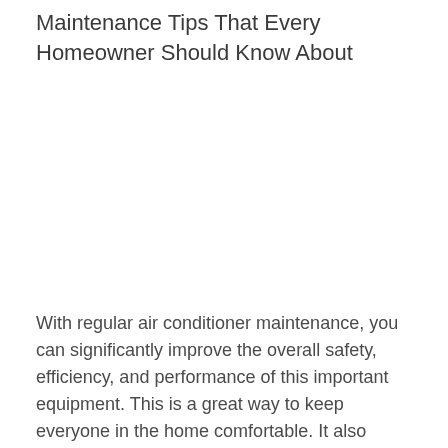Maintenance Tips That Every Homeowner Should Know About
[Figure (photo): Photograph related to air conditioner maintenance (image area, content not fully visible)]
With regular air conditioner maintenance, you can significantly improve the overall safety, efficiency, and performance of this important equipment. This is a great way to keep everyone in the home comfortable. It also helps avoid massive repair bills because it prevents mechanical malfunctions throughout the hottest portions of the year. This article covers 8 AC maintenance tips that every household should perform during the summer and